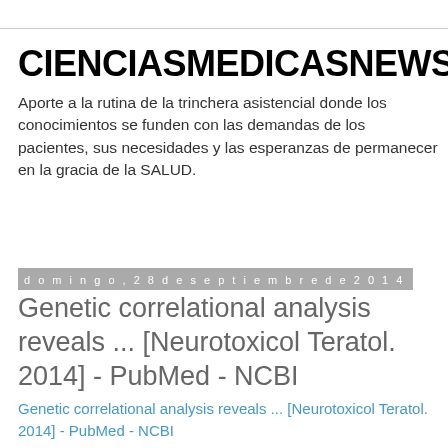CIENCIASMEDICASNEWS
Aporte a la rutina de la trinchera asistencial donde los conocimientos se funden con las demandas de los pacientes, sus necesidades y las esperanzas de permanecer en la gracia de la SALUD.
domingo, 28 de septiembre de 2014
Genetic correlational analysis reveals ... [Neurotoxicol Teratol. 2014] - PubMed - NCBI
Genetic correlational analysis reveals ... [Neurotoxicol Teratol. 2014] - PubMed - NCBI